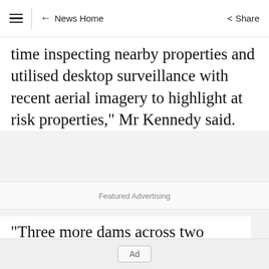≡  ← News Home  Share
time inspecting nearby properties and utilised desktop surveillance with recent aerial imagery to highlight at risk properties," Mr Kennedy said.
Featured Advertising
"Three more dams across two more properties were found to also have outbreaks of this high risk weed and it was deemed specialised treatment of the sites were required, as well as